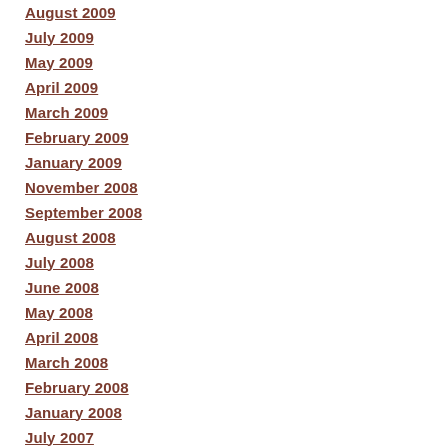August 2009
July 2009
May 2009
April 2009
March 2009
February 2009
January 2009
November 2008
September 2008
August 2008
July 2008
June 2008
May 2008
April 2008
March 2008
February 2008
January 2008
July 2007
June 2007